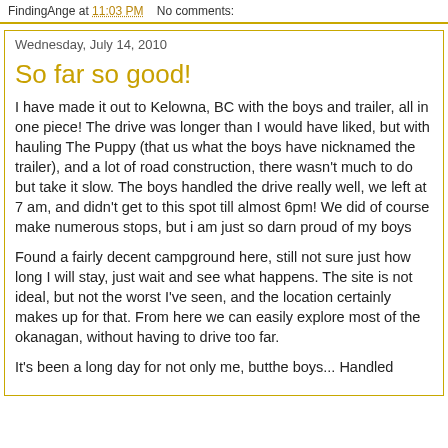FindingAnge at 11:03 PM   No comments:
Wednesday, July 14, 2010
So far so good!
I have made it out to Kelowna, BC with the boys and trailer, all in one piece! The drive was longer than I would have liked, but with hauling The Puppy (that us what the boys have nicknamed the trailer), and a lot of road construction, there wasn't much to do but take it slow. The boys handled the drive really well, we left at 7 am, and didn't get to this spot till almost 6pm! We did of course make numerous stops, but i am just so darn proud of my boys
Found a fairly decent campground here, still not sure just how long I will stay, just wait and see what happens. The site is not ideal, but not the worst I've seen, and the location certainly makes up for that. From here we can easily explore most of the okanagan, without having to drive too far.
It's been a long day for not only me, butthe boys... Handled